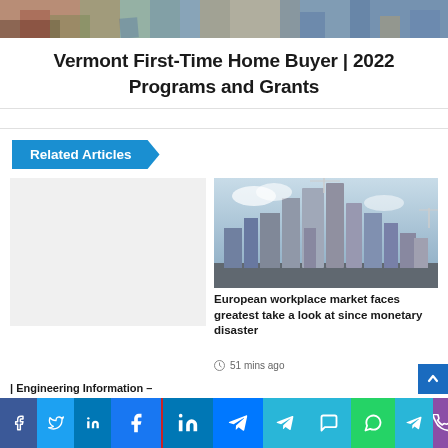[Figure (photo): Top banner image showing a neighborhood with houses and colorful foliage]
Vermont First-Time Home Buyer | 2022 Programs and Grants
Related Articles
[Figure (photo): Empty placeholder area for left article image]
[Figure (photo): City skyline with tall modern skyscrapers under construction, cloudy sky]
European workplace market faces greatest take a look at since monetary disaster
51 mins ago
| Engineering Information –